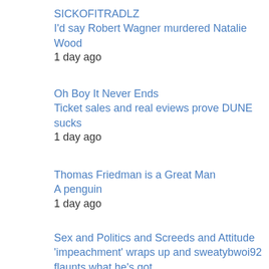SICKOFITRADLZ
I'd say Robert Wagner murdered Natalie Wood
1 day ago
Oh Boy It Never Ends
Ticket sales and real eviews prove DUNE sucks
1 day ago
Thomas Friedman is a Great Man
A penguin
1 day ago
Sex and Politics and Screeds and Attitude
'impeachment' wraps up and sweatybwoi92 flaunts what he's got
1 day ago